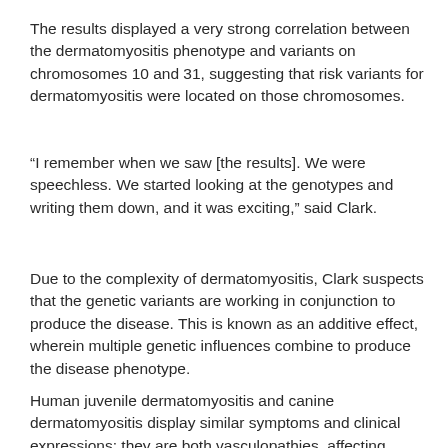The results displayed a very strong correlation between the dermatomyositis phenotype and variants on chromosomes 10 and 31, suggesting that risk variants for dermatomyositis were located on those chromosomes.
“I remember when we saw [the results]. We were speechless. We started looking at the genotypes and writing them down, and it was exciting,” said Clark.
Due to the complexity of dermatomyositis, Clark suspects that the genetic variants are working in conjunction to produce the disease. This is known as an additive effect, wherein multiple genetic influences combine to produce the disease phenotype.
Human juvenile dermatomyositis and canine dermatomyositis display similar symptoms and clinical expressions; they are both vasculopathies, affecting connective tissues. Clark hopes her research can be applied